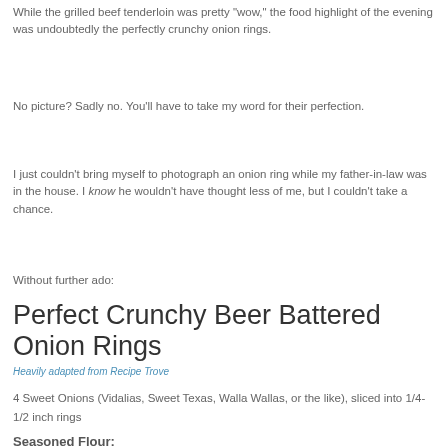While the grilled beef tenderloin was pretty "wow," the food highlight of the evening was undoubtedly the perfectly crunchy onion rings.
No picture? Sadly no. You'll have to take my word for their perfection.
I just couldn't bring myself to photograph an onion ring while my father-in-law was in the house. I know he wouldn't have thought less of me, but I couldn't take a chance.
Without further ado:
Perfect Crunchy Beer Battered Onion Rings
Heavily adapted from Recipe Trove
4 Sweet Onions (Vidalias, Sweet Texas, Walla Wallas, or the like), sliced into 1/4-1/2 inch rings
Seasoned Flour: